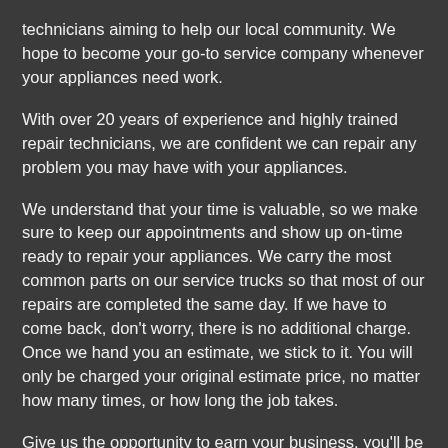technicians aiming to help our local community. We hope to become your go-to service company whenever your appliances need work.
With over 20 years of experience and highly trained repair technicians, we are confident we can repair any problem you may have with your appliances.
We understand that your time is valuable, so we make sure to keep our appointments and show up on-time ready to repair your appliances. We carry the most common parts on our service trucks so that most of our repairs are completed the same day. If we have to come back, don't worry, there is no additional charge. Once we hand you an estimate, we stick to it. You will only be charged your original estimate price, no matter how many times, or how long the job takes.
Give us the opportunity to earn your business, you'll be happy you did.